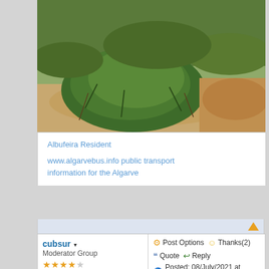[Figure (photo): Photo of a green shrub/bush on dry sandy/reddish ground with other vegetation in background]
Albufeira Resident
www.algarvebus.info public transport information for the Algarve
cubsur ▾
Moderator Group
Post Options   Thanks(2)   Quote
Reply
Posted: 08/July/2021 at 11:55
Almost a year on from the previous pictures. It hasn't rained for weeks and the grass has long since died.